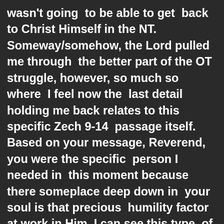wasn't going to be able to get back to Christ Himself in the NT. Someway/somehow, the Lord pulled me through the better part of the OT struggle, however, so much so where I feel now the last detail holding me back relates to this specific Zech 9-14 passage itself. Based on your message, Reverend, you were the specific person I needed in this moment because there someplace deep down in your soul is that precious humility factor at work in Him, I can see this type of thing come through from the soul in only a select few of His people-it's been more detectable among the elders for whatever reason in this crazy day and and age that we're living right now...I thank you for your service once again for Him and helping those like myself in moments like this. The heart's humility in Him in that place of peace and calm so evident w/ you, that alone comes as such a remarkable